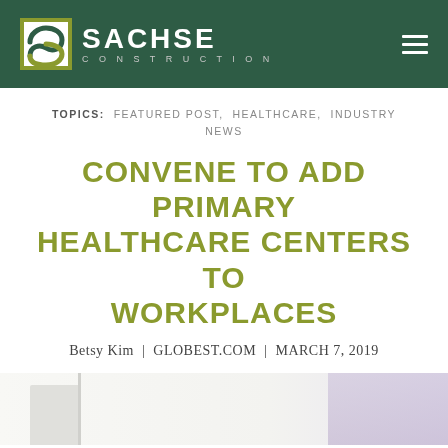SACHSE CONSTRUCTION
TOPICS: FEATURED POST, HEALTHCARE, INDUSTRY NEWS
CONVENE TO ADD PRIMARY HEALTHCARE CENTERS TO WORKPLACES
Betsy Kim | GLOBEST.COM | MARCH 7, 2019
[Figure (photo): Bottom portion of a bright clinical/office interior space with white cabinetry on the left and a purple accent visible on the right]